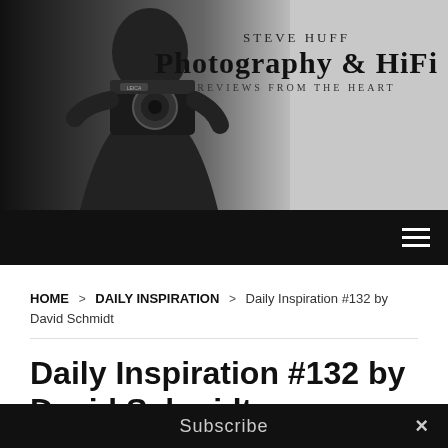[Figure (logo): Steve Huff Photography & HiFi website header banner with a black-and-white photo of a man holding a Leica camera, and text reading 'Steve Huff Photography & HiFi — Reviews From The Heart']
Navigation bar with hamburger menu icon
HOME > DAILY INSPIRATION > Daily Inspiration #132 by David Schmidt
Daily Inspiration #132 by David Schmidt
August 8, 2010  7
Hope everyone is enjoying their Sunday! I love lazy Sundays...laying in bed
Subscribe  ×